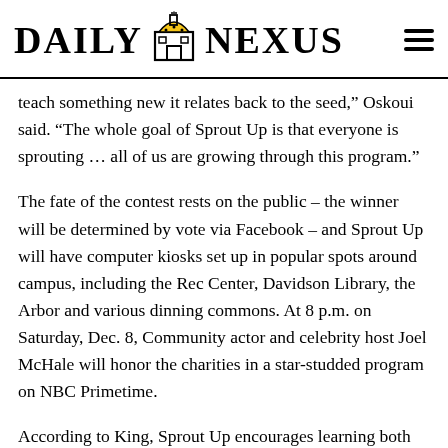DAILY NEXUS
teach something new it relates back to the seed," Oskoui said. “The whole goal of Sprout Up is that everyone is sprouting … all of us are growing through this program."
The fate of the contest rests on the public – the winner will be determined by vote via Facebook – and Sprout Up will have computer kiosks set up in popular spots around campus, including the Rec Center, Davidson Library, the Arbor and various dinning commons. At 8 p.m. on Saturday, Dec. 8, Community actor and celebrity host Joel McHale will honor the charities in a star-studded program on NBC Primetime.
According to King, Sprout Up encourages learning both within the classroom and outside of it. With an at-home program called Second Nature, the nonprofit strives to